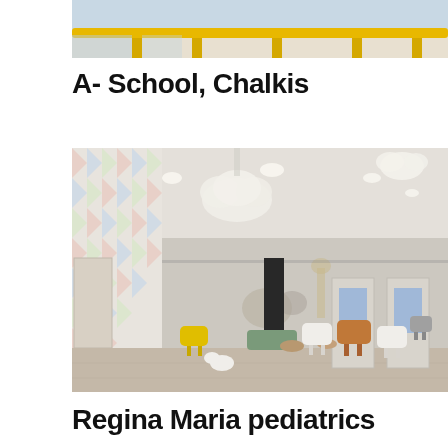[Figure (photo): Top portion of a school interior photo showing yellow furniture legs against a colorful background]
A- School, Chalkis
[Figure (photo): Interior of Regina Maria pediatrics clinic waiting room with colorful chevron-patterned walls, cloud-shaped pendant lights, a dark structural column, animal murals, and modern children's chairs in yellow, white, and orange arranged around small tables. Blue-windowed doors line the right wall.]
Regina Maria pediatrics